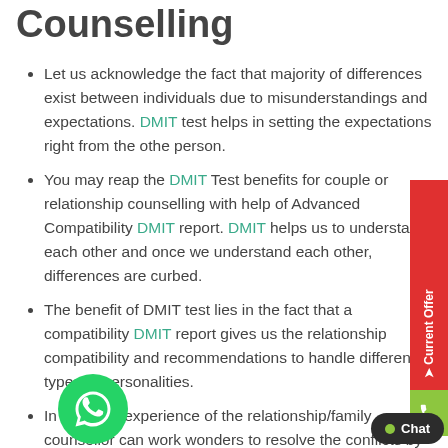Counselling
Let us acknowledge the fact that majority of differences exist between individuals due to misunderstandings and expectations. DMIT test helps in setting the expectations right from the other person.
You may reap the DMIT Test benefits for couple or relationship counselling with help of Advanced Compatibility DMIT report. DMIT helps us to understand each other and once we understand each other, differences are curbed.
The benefit of DMIT test lies in the fact that a compatibility DMIT report gives us the relationship compatibility and recommendations to handle different types of personalities.
In addition, experience of the relationship/family counsellor can work wonders to resolve the conflicts by setting the expectations right, guiding the individuals to take care of their loved ones and hence
[Figure (illustration): WhatsApp contact button (green circle with phone icon)]
[Figure (illustration): Current Offer side tab (red vertical banner)]
[Figure (illustration): Phone call button (green)]
[Figure (illustration): Chat button (dark, bottom right)]